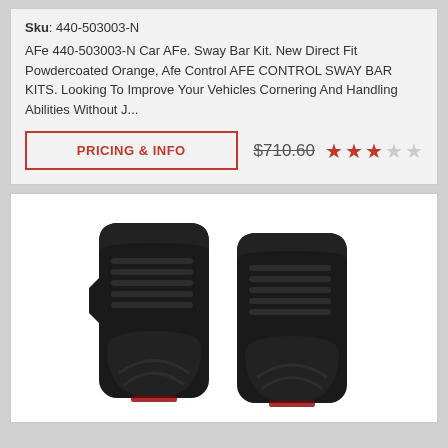Sku: 440-503003-N
AFe 440-503003-N Car AFe. Sway Bar Kit. New Direct Fit Powdercoated Orange, Afe Control AFE CONTROL SWAY BAR KITS. Looking To Improve Your Vehicles Cornering And Handling Abilities Without J...
PRICING & INFO
$710.60
[Figure (illustration): Two black rubber car floor mats (WeatherTech style) shown side by side on white background]